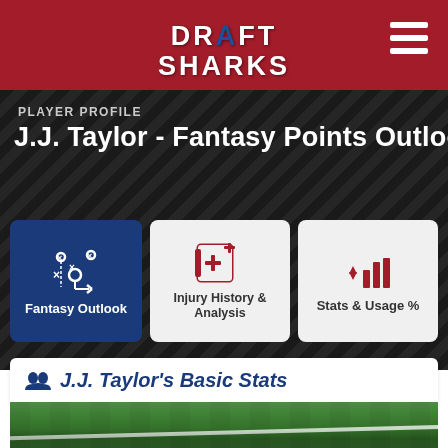DRAFT SHARKS
PLAYER PROFILE
J.J. Taylor - Fantasy Points Outlook
[Figure (screenshot): Fantasy Outlook tab button (active, dark blue background) with play diagram icon]
[Figure (screenshot): Injury History & Analysis tab button (light gray background) with medical/injury icon]
[Figure (screenshot): Stats & Usage % tab button (light gray background) with bar chart and arrows icon]
J.J. Taylor's Basic Stats
[Figure (photo): Football field grass surface, close up view with white yard line visible]